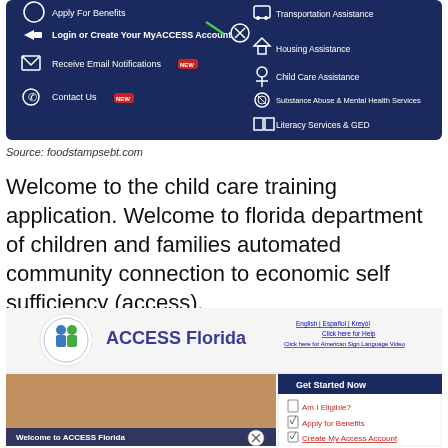[Figure (screenshot): Screenshot of MyACCESS portal navigation menu on dark navy background showing: Apply For Benefits, Login or Create Your MyACCESS Account (with green arrow and X button), Receive Email Notifications (NEW badge), Contact Us (NEW badge), Transportation Assistance, Housing Assistance, Child Care Assistance, Substance Abuse & Mental Health Services, Literacy Services & GED]
Source: foodstampsebt.com
Welcome to the child care training application. Welcome to florida department of children and families automated community connection to economic self sufficiency (access).
[Figure (screenshot): Screenshot of ACCESS Florida website showing logo with two figures, ACCESS Florida heading, language options (English | Español | Kreyòl), Click here for Help, Click here for American Sign Language Video, a photo of a child flexing arm with Welcome to ACCESS Florida banner, and a Get Started Now panel with Am I Eligible?, Apply for Benefits, Create My Access Account links]